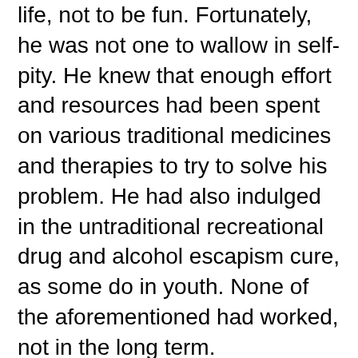life, not to be fun. Fortunately, he was not one to wallow in self-pity. He knew that enough effort and resources had been spent on various traditional medicines and therapies to try to solve his problem. He had also indulged in the untraditional recreational drug and alcohol escapism cure, as some do in youth. None of the aforementioned had worked, not in the long term. He had originally sought hypnosis to learn relaxation and control techniques. The first hypnosis session taught him how to apply relaxation techniques. In that session he learned that while under hypnosis he was always ultimately in control. He quickly learned that he could choose to stop the session at any time. He could do this by simply opening his eyes. The second session was quite a different story; it brought back his worst nightmare with such clarity that he had a strong physical reaction. He started moving his arms and legs in such a way that he unfortunately somehow hit the psychologist and gave the poor man a rather